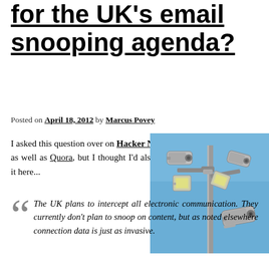for the UK's email snooping agenda?
Posted on April 18, 2012 by Marcus Povey
I asked this question over on Hacker News, as well as Quora, but I thought I'd also ask it here...
[Figure (photo): Surveillance cameras mounted on a pole against a blue sky]
The UK plans to intercept all electronic communication. They currently don't plan to snoop on content, but as noted elsewhere connection data is just as invasive.